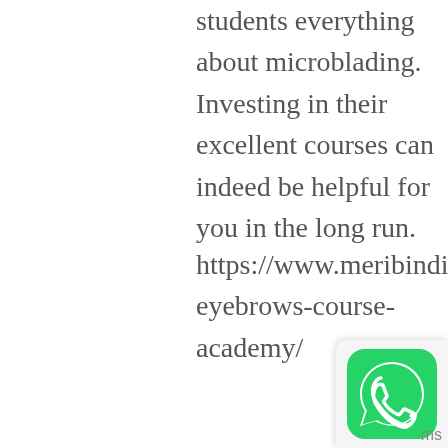students everything about microblading. Investing in their excellent courses can indeed be helpful for you in the long run.
https://www.meribindiya.com/blog/microblading-eyebrows-course-academy/
Meribindiya Academy teaches its students about the different techniques involved in microblading and the tools and materials used in the procedure. We also teach them everything about color retention methods and small basics, such as the deepness in which the pigment
[Figure (logo): WhatsApp icon button in bottom-right corner]